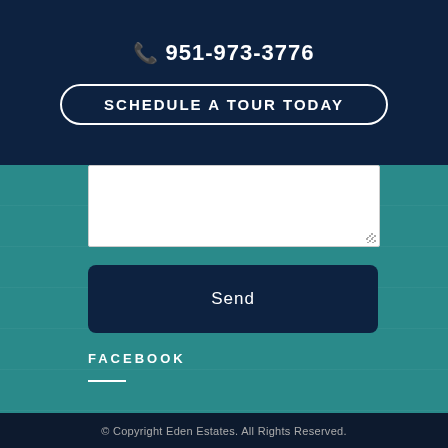📞 951-973-3776
SCHEDULE A TOUR TODAY
Send
FACEBOOK
© Copyright Eden Estates. All Rights Reserved.